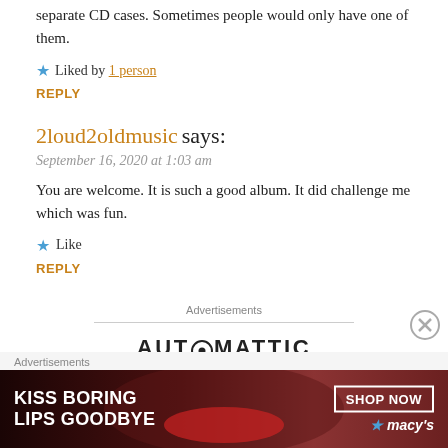separate CD cases. Sometimes people would only have one of them.
Liked by 1 person
REPLY
2loud2oldmusic says:
September 16, 2020 at 1:03 am
You are welcome. It is such a good album. It did challenge me which was fun.
Like
REPLY
Advertisements
[Figure (logo): AUTOMATTIC logo with stylized O]
Advertisements
[Figure (photo): Macy's advertisement banner: KISS BORING LIPS GOODBYE with SHOP NOW button and Macy's star logo, model with red lips]